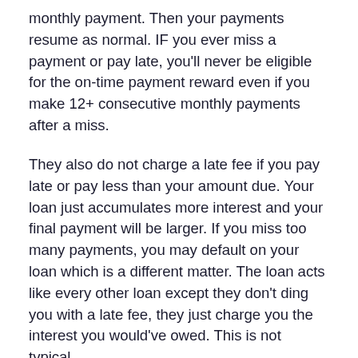monthly payment. Then your payments resume as normal. IF you ever miss a payment or pay late, you'll never be eligible for the on-time payment reward even if you make 12+ consecutive monthly payments after a miss.
They also do not charge a late fee if you pay late or pay less than your amount due. Your loan just accumulates more interest and your final payment will be larger. If you miss too many payments, you may default on your loan which is a different matter. The loan acts like every other loan except they don't ding you with a late fee, they just charge you the interest you would've owed. This is not typical.
Clarity Money App (discontinued)